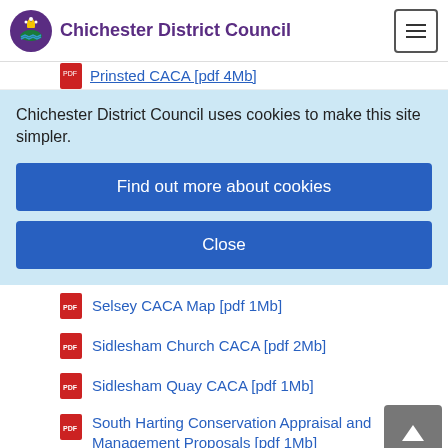Chichester District Council
Prinsted CACA [pdf 4Mb]
Chichester District Council uses cookies to make this site simpler.
Find out more about cookies
Close
Selsey CACA Map [pdf 1Mb]
Sidlesham Church CACA [pdf 2Mb]
Sidlesham Quay CACA [pdf 1Mb]
South Harting Conservation Appraisal and Management Proposals [pdf 1Mb]
South Harting Conservation Area Townscape Appraisal Map 1 [pdf 1Mb]